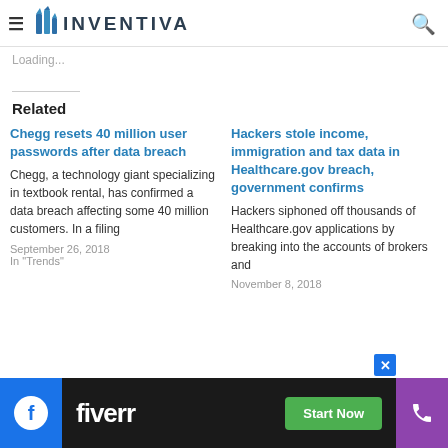INVENTIVA
Loading...
Related
Chegg resets 40 million user passwords after data breach
Chegg, a technology giant specializing in textbook rental, has confirmed a data breach affecting some 40 million customers. In a filing
September 26, 2018
In "Trends"
Hackers stole income, immigration and tax data in Healthcare.gov breach, government confirms
Hackers siphoned off thousands of Healthcare.gov applications by breaking into the accounts of brokers and
November 8, 2018
[Figure (screenshot): Fiverr advertisement banner at the bottom with Facebook icon, Fiverr logo and Start Now button, purple phone icon area]